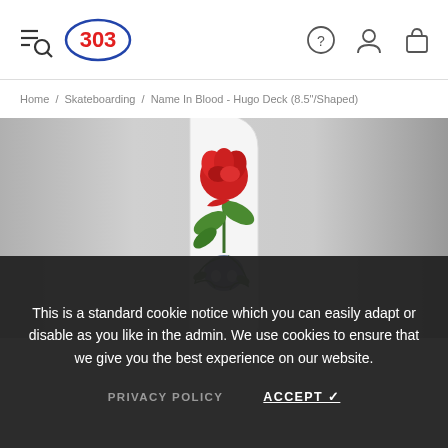303 Boards - Navigation header with menu, logo, help, account, and cart icons
Home / Skateboarding / Name In Blood - Hugo Deck (8.5"/Shaped)
[Figure (photo): Skateboard deck with rose and skull illustration on white background, shown vertically]
This is a standard cookie notice which you can easily adapt or disable as you like in the admin. We use cookies to ensure that we give you the best experience on our website.
PRIVACY POLICY    ACCEPT ✓